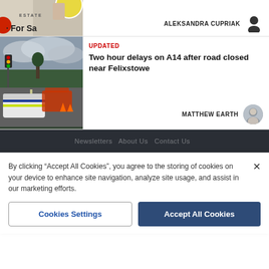[Figure (photo): Partial news article card showing a 'For Sale' estate sign with a yellow circle element and a hand/person visible, byline reads ALEKSANDRA CUPRIAK with silhouette author icon]
ALEKSANDRA CUPRIAK
[Figure (photo): News article image showing a road scene with a police car (yellow and blue markings visible) and emergency vehicles blocking the A14 road near Felixstowe]
UPDATED
Two hour delays on A14 after road closed near Felixstowe
MATTHEW EARTH
By clicking “Accept All Cookies”, you agree to the storing of cookies on your device to enhance site navigation, analyze site usage, and assist in our marketing efforts.
Cookies Settings
Accept All Cookies